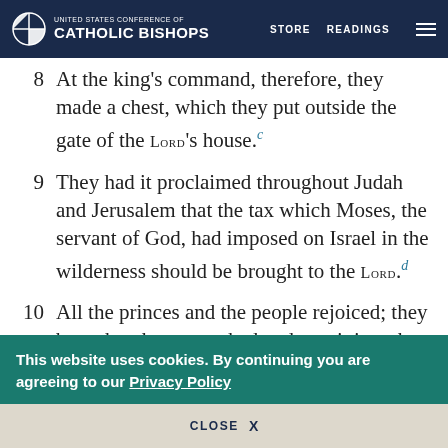UNITED STATES CONFERENCE OF CATHOLIC BISHOPS — STORE  READINGS
8 At the king's command, therefore, they made a chest, which they put outside the gate of the LORD's house.
9 They had it proclaimed throughout Judah and Jerusalem that the tax which Moses, the servant of God, had imposed on Israel in the wilderness should be brought to the LORD.
10 All the princes and the people rejoiced; they brought what was asked and cast it into the
This website uses cookies. By continuing you are agreeing to our Privacy Policy
CLOSE  X